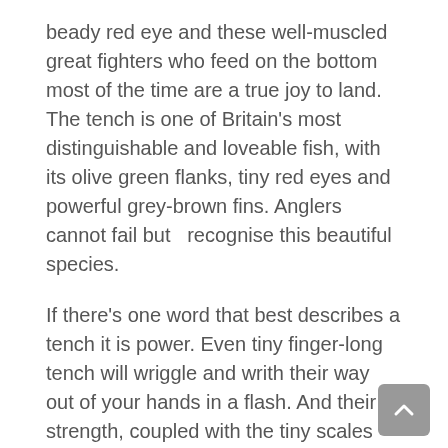beady red eye and these well-muscled great fighters who feed on the bottom most of the time are a true joy to land. The tench is one of Britain's most distinguishable and loveable fish, with its olive green flanks, tiny red eyes and powerful grey-brown fins. Anglers cannot fail but recognise this beautiful species.
If there's one word that best describes a tench it is power. Even tiny finger-long tench will wriggle and writh their way out of your hands in a flash. And their strength, coupled with the tiny scales and their mucus-covered bodies makes the tench a difficult fish to handle at the best of times.
Carp – Carp were introduced into the UK for food by monks as far back as the 13th century and today are one of the most popular targeted species by anglers. They are